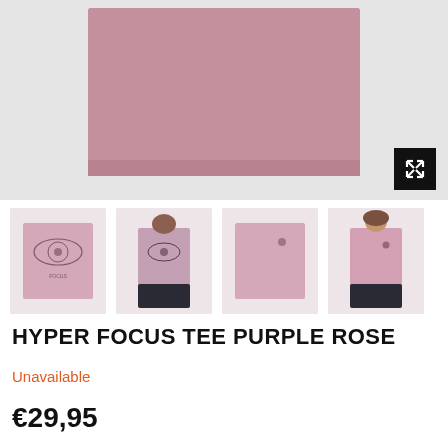[Figure (photo): Main product image showing pink/purple rose t-shirt laid flat on a light grey background, with a black expand/fullscreen button in the bottom right corner]
[Figure (photo): Four thumbnail images of the Hyper Focus Tee Purple Rose: 1) back of t-shirt laid flat showing eye graphic, 2) person wearing t-shirt from back, 3) front of t-shirt laid flat, 4) person wearing t-shirt from front]
HYPER FOCUS TEE PURPLE ROSE
Unavailable
€29,95